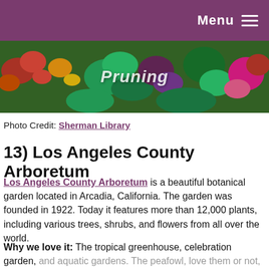Menu
[Figure (photo): Colorful garden with red, pink, and green plants; 'Pruning' text overlay]
Photo Credit: Sherman Library
13) Los Angeles County Arboretum
Los Angeles County Arboretum is a beautiful botanical garden located in Arcadia, California. The garden was founded in 1922. Today it features more than 12,000 plants, including various trees, shrubs, and flowers from all over the world.
Why we love it: The tropical greenhouse, celebration garden, and aquatic gardens. The peafowl, love them or not, colorfully wander the property and are seemingly everywhere.